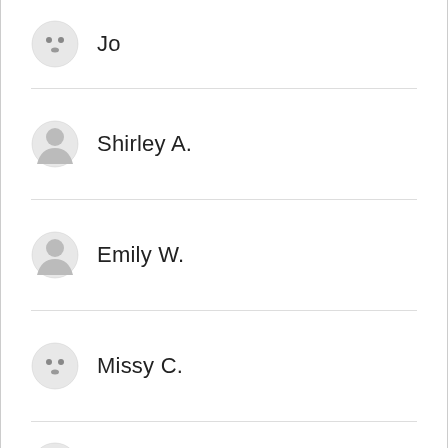Jo
Shirley A.
Emily W.
Missy C.
Alaina